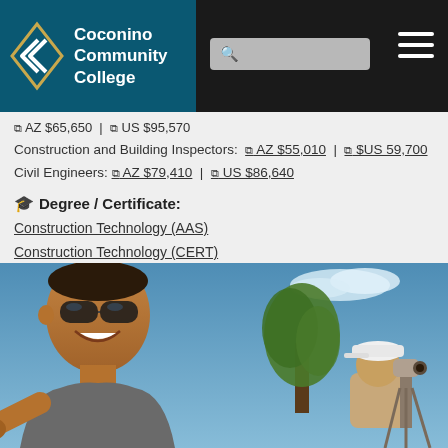Coconino Community College
AZ $65,650 | US $95,570
Construction and Building Inspectors: AZ $55,010 | $US 59,700
Civil Engineers: AZ $79,410 | US $86,640
Degree / Certificate:
Construction Technology (AAS)
Construction Technology (CERT)
[Figure (photo): Two people outdoors under a blue sky with trees. One person in the foreground wearing sunglasses and a gray shirt is smiling, viewed from a low angle. Another person wearing a white cap is visible in the background near surveying equipment.]